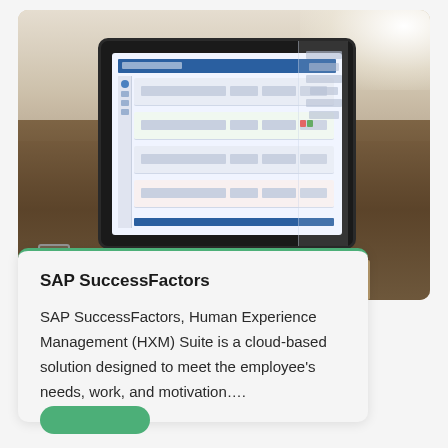[Figure (photo): A tablet computer displaying a SAP SuccessFactors dashboard interface, placed on a wooden desk in a blurred office/home environment]
SAP SuccessFactors
SAP SuccessFactors, Human Experience Management (HXM) Suite is a cloud-based solution designed to meet the employee’s needs, work, and motivation….